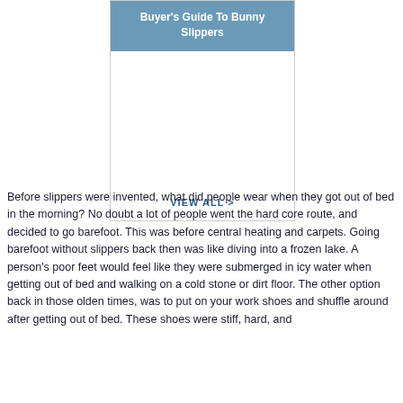Buyer's Guide To Bunny Slippers
[Figure (other): Buyer's Guide To Bunny Slippers box with blue header, white image area, and VIEW ALL link]
Before slippers were invented, what did people wear when they got out of bed in the morning? No doubt a lot of people went the hard core route, and decided to go barefoot. This was before central heating and carpets. Going barefoot without slippers back then was like diving into a frozen lake. A person's poor feet would feel like they were submerged in icy water when getting out of bed and walking on a cold stone or dirt floor. The other option back in those olden times, was to put on your work shoes and shuffle around after getting out of bed. These shoes were stiff, hard, and